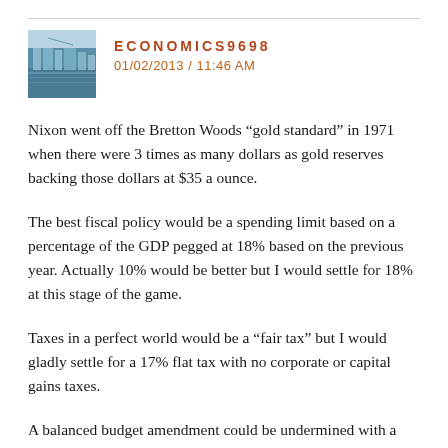[Figure (photo): Avatar/profile photo showing a waterfront cityscape with blue water and buildings]
ECONOMICS9698
01/02/2013 / 11:46 AM
Nixon went off the Bretton Woods “gold standard” in 1971 when there were 3 times as many dollars as gold reserves backing those dollars at $35 a ounce.
The best fiscal policy would be a spending limit based on a percentage of the GDP pegged at 18% based on the previous year. Actually 10% would be better but I would settle for 18% at this stage of the game.
Taxes in a perfect world would be a “fair tax” but I would gladly settle for a 17% flat tax with no corporate or capital gains taxes.
A balanced budget amendment could be undermined with a Value Added Tax (VAT) which would enable the federal government to